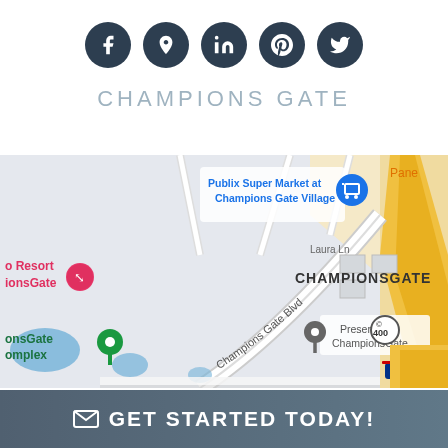[Figure (infographic): Row of five dark circular social media icon buttons: Facebook, Location/Maps pin, LinkedIn, Pinterest, Twitter]
CHAMPIONS GATE
[Figure (map): Google Maps screenshot showing ChampionsGate area in Florida with Champions Gate Blvd, Publix Super Market at Champions Gate Village, Preserve at ChampionsGate, and I-4/Route 400 visible]
GET STARTED TODAY!